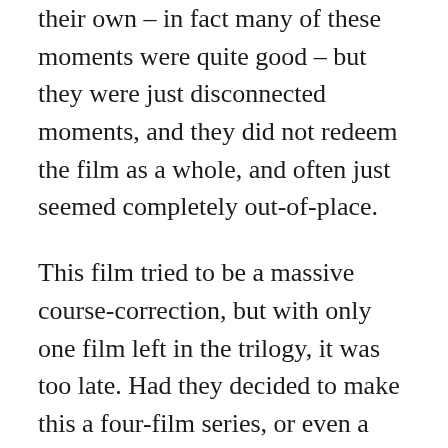their own – in fact many of these moments were quite good – but they were just disconnected moments, and they did not redeem the film as a whole, and often just seemed completely out-of-place.
This film tried to be a massive course-correction, but with only one film left in the trilogy, it was too late. Had they decided to make this a four-film series, or even a six-film series, they might have been able to do it. If they wanted to course-correct, then it was a bad decision to limit this series to only three films. Almost every decision they made in making this film was the wrong one. As much as I didn't like The Last Jedi, this film would probably have been better if they'd continued